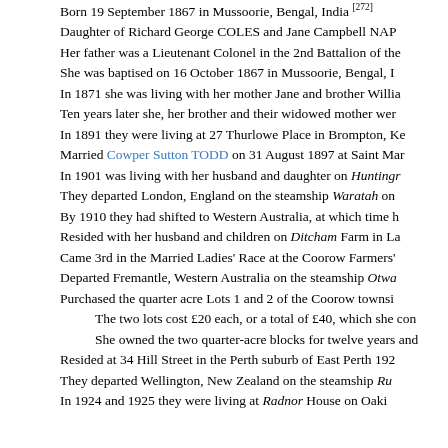Born 19 September 1867 in Mussoorie, Bengal, India [272]
Daughter of Richard George COLES and Jane Campbell NAP…
Her father was a Lieutenant Colonel in the 2nd Battalion of the…
She was baptised on 16 October 1867 in Mussoorie, Bengal, I…
In 1871 she was living with her mother Jane and brother Willia…
Ten years later she, her brother and their widowed mother wer…
In 1891 they were living at 27 Thurlowe Place in Brompton, Ke…
Married Cowper Sutton TODD on 31 August 1897 at Saint Mar…
In 1901 was living with her husband and daughter on Huntingr…
They departed London, England on the steamship Waratah on…
By 1910 they had shifted to Western Australia, at which time h…
Resided with her husband and children on Ditcham Farm in La…
Came 3rd in the Married Ladies' Race at the Coorow Farmers'…
Departed Fremantle, Western Australia on the steamship Otwa…
Purchased the quarter acre Lots 1 and 2 of the Coorow townsi…
The two lots cost £20 each, or a total of £40, which she con…
She owned the two quarter-acre blocks for twelve years an…
Resided at 34 Hill Street in the Perth suburb of East Perth 192…
They departed Wellington, New Zealand on the steamship Ru…
In 1924 and 1925 they were living at Radnor House on Oaki…